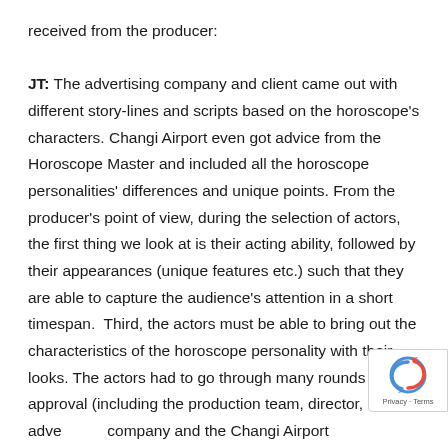received from the producer:

JT: The advertising company and client came out with different story-lines and scripts based on the horoscope's characters. Changi Airport even got advice from the Horoscope Master and included all the horoscope personalities' differences and unique points. From the producer's point of view, during the selection of actors, the first thing we look at is their acting ability, followed by their appearances (unique features etc.) such that they are able to capture the audience's attention in a short timespan.  Third, the actors must be able to bring out the characteristics of the horoscope personality with their looks. The actors had to go through many rounds of approval (including the production team, director, advertising company and the Changi Airport management) before having their roles confirmed.